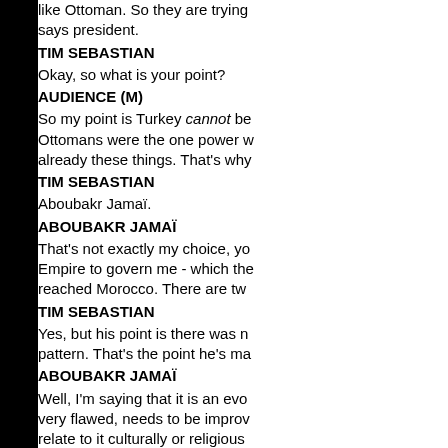like Ottoman. So they are trying… says president.
TIM SEBASTIAN
Okay, so what is your point?
AUDIENCE (M)
So my point is Turkey cannot be… Ottomans were the one power w… already these things. That's why…
TIM SEBASTIAN
Aboubakr Jamaï.
ABOUBAKR JAMAÏ
That's not exactly my choice, yo… Empire to govern me - which the… reached Morocco. There are tw…
TIM SEBASTIAN
Yes, but his point is there was n… pattern. That's the point he's ma…
ABOUBAKR JAMAÏ
Well, I'm saying that it is an evo… very flawed, needs to be improv… relate to it culturally or religious…